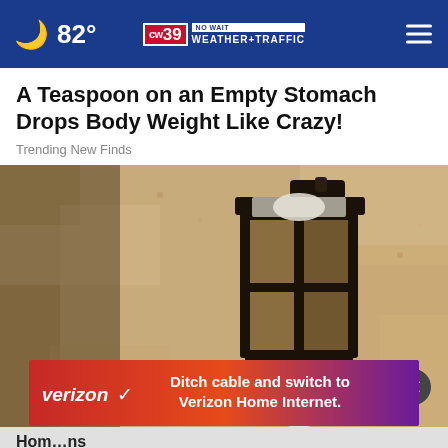82° CW39 NO WAIT WEATHER+TRAFFIC
A Teaspoon on an Empty Stomach Drops Body Weight Like Crazy!
Trending New Finds
[Figure (photo): Outdoor wall-mounted black lantern light fixture on a textured stucco wall, with a white security camera visible below it. A Verizon advertisement overlay reads 'Ditch cable and switch to Verizon Home Internet.' with a close button.]
Hom…ns